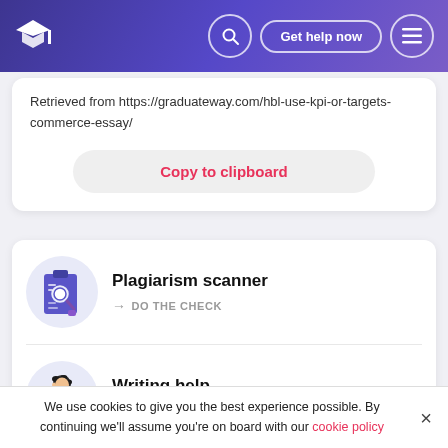Graduate gateway header with logo, search, Get help now button, and menu
Retrieved from https://graduateway.com/hbl-use-kpi-or-targets-commerce-essay/
Copy to clipboard
Plagiarism scanner
→ DO THE CHECK
Writing help
→ ASK FOR HELP
We use cookies to give you the best experience possible. By continuing we'll assume you're on board with our cookie policy